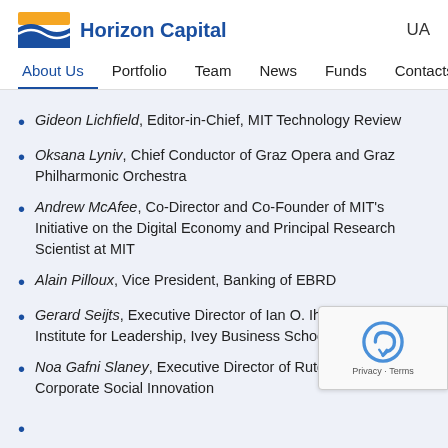Horizon Capital UA
About Us | Portfolio | Team | News | Funds | Contacts
Gideon Lichfield, Editor-in-Chief, MIT Technology Review
Oksana Lyniv, Chief Conductor of Graz Opera and Graz Philharmonic Orchestra
Andrew McAfee, Co-Director and Co-Founder of MIT's Initiative on the Digital Economy and Principal Research Scientist at MIT
Alain Pilloux, Vice President, Banking of EBRD
Gerard Seijts, Executive Director of Ian O. Ihnatowycz Institute for Leadership, Ivey Business School
Noa Gafni Slaney, Executive Director of Rutgers Institute for Corporate Social Innovation
Oleg S...